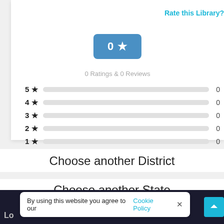Rate this Library?
[Figure (other): Blue rounded rectangle button showing '0 ★' (zero star rating)]
0 Ratings & 0 Reviews
[Figure (bar-chart): Star ratings breakdown]
Choose another District
Choose another State
By using this website you agree to our Cookie Policy ×
Lo